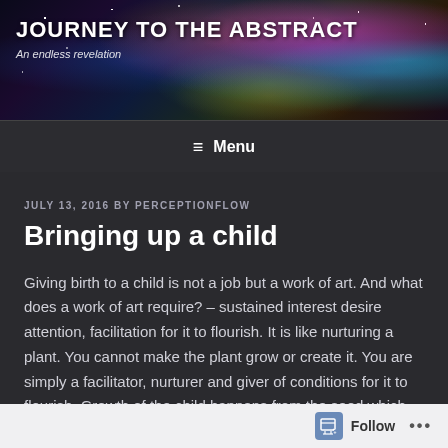[Figure (illustration): Abstract cosmic/nebula background with swirling colorful clouds in purple, teal, orange and green against dark space with stars]
JOURNEY TO THE ABSTRACT
An endless revelation
≡ Menu
JULY 13, 2016 BY PERCEPTIONFLOW
Bringing up a child
Giving birth to a child is not a job but a work of art. And what does a work of art require? – sustained interest desire attention, facilitation for it to flourish. It is like nurturing a plant. You cannot make the plant grow or create it. You are simply a facilitator, nurturer and giver of conditions for it to flourish. Growth of the child happens from the seed which
Follow ...